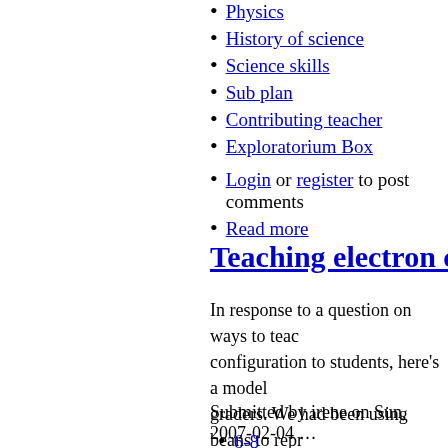Physics
History of science
Science skills
Sub plan
Contributing teacher
Exploratorium Box
Login or register to post comments
Read more
Teaching electron configu…
In response to a question on ways to teach electron configuration to students, here's a model I used with 9th graders. We had been using beans to represent atoms models of atoms (green lentils = electrons, red beans = protons, black beans = neutrons). I made a large chart to help them understand the idea of where electrons go when they are added (download it at the…
Submitted by irene on Sun, 2007-02-04 …
6-8
8-12